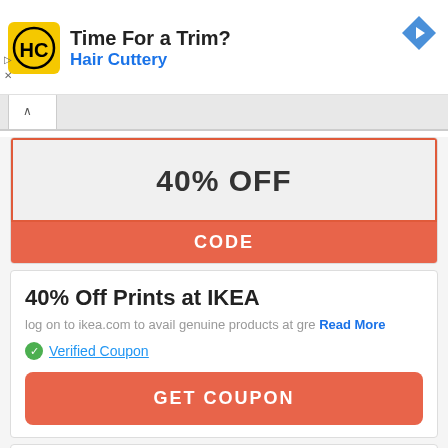[Figure (logo): Hair Cuttery HC logo in yellow square with ad banner saying Time For a Trim? Hair Cuttery]
Time For a Trim?
Hair Cuttery
40% OFF
CODE
40% Off Prints at IKEA
log on to ikea.com to avail genuine products at gre... Read More
Verified Coupon
GET COUPON